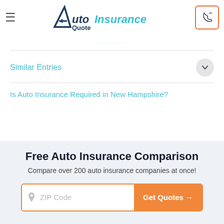[Figure (logo): AutoInsuranceQuote logo with stylized A and teal 'Insurance' text]
Similar Entries
Is Auto Insurance Required in New Hampshire?
Free Auto Insurance Comparison
Compare over 200 auto insurance companies at once!